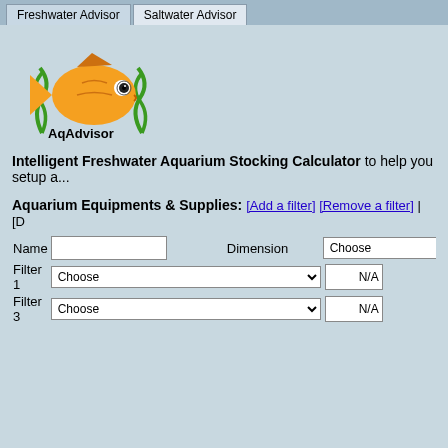Freshwater Advisor | Saltwater Advisor
[Figure (logo): AqAdvisor logo with orange fish and green plants]
Intelligent Freshwater Aquarium Stocking Calculator to help you setup a...
Aquarium Equipments & Supplies: [Add a filter] [Remove a filter] | [D...
| Name | Dimension | Len... |
| --- | --- | --- |
| Filter 1 | Choose | N/A gUS Filter... |
| Filter 3 | Choose | N/A gUS Upda... |